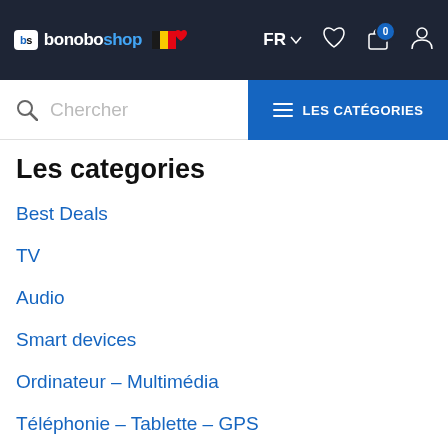bonoboshop FR LES CATÉGORIES
Chercher
Les categories
Best Deals
TV
Audio
Smart devices
Ordinateur – Multimédia
Téléphonie – Tablette – GPS
Ménage
Cuisine – appareils...
Laisser un message